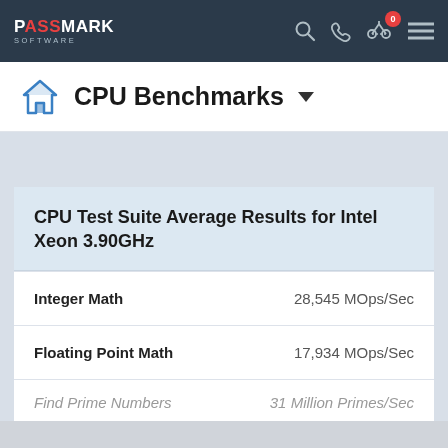PassMark Software — CPU Benchmarks
CPU Benchmarks
CPU Test Suite Average Results for Intel Xeon 3.90GHz
| Test | Result |
| --- | --- |
| Integer Math | 28,545 MOps/Sec |
| Floating Point Math | 17,934 MOps/Sec |
| Find Prime Numbers | 31 Million Primes/Sec |